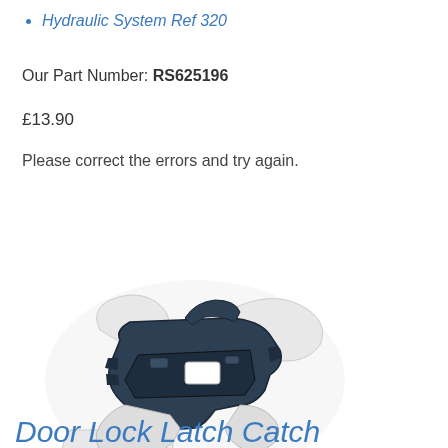Hydraulic System Ref 320
Our Part Number: RS625196
£13.90
Please correct the errors and try again.
Add To Basket
[Figure (photo): Product photo of a door lock latch catch mechanism — a white and dark grey/navy blue plastic automotive latch component photographed on a white background.]
Door Lock Latch Catch